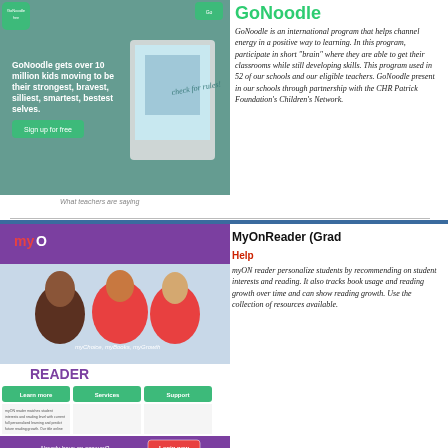[Figure (screenshot): GoNoodle website screenshot showing promotional banner: 'GoNoodle gets over 10 million kids moving to be their strongest, bravest, silliest, smartest, bestest selves.' with Sign up for free button and tablet image]
GoNoodle
GoNoodle is an international program that helps channel energy in a positive way to learning. In this program, participate in short "brain" where they are able to get their classrooms while still developing skills. This program used in 52 of our schools and our eligible teachers. GoNoodle present in our schools through partnership with the CHR Patrick Foundation's Children's Network.
What teachers are saying
[Figure (screenshot): MyOnReader website screenshot showing myON READER logo with children, Learn more, Services, Support buttons, and Login now button]
MyOnReader (Grade Help)
myON reader personalizes students by recommending on student interests and reading. It also tracks book usage and reading growth over time and can show reading growth. Use the collection of resources available.